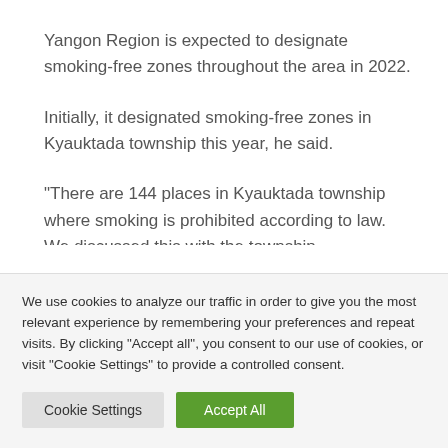Yangon Region is expected to designate smoking-free zones throughout the area in 2022.
Initially, it designated smoking-free zones in Kyauktada township this year, he said.
“There are 144 places in Kyauktada township where smoking is prohibited according to law. We discussed this with the township administrator and the...
We use cookies to analyze our traffic in order to give you the most relevant experience by remembering your preferences and repeat visits. By clicking "Accept all", you consent to our use of cookies, or visit "Cookie Settings" to provide a controlled consent.